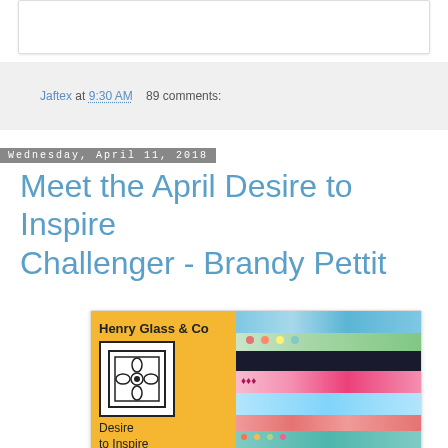Jaftex at 9:30 AM   89 comments:
Wednesday, April 11, 2018
Meet the April Desire to Inspire Challenger - Brandy Pettit
[Figure (photo): Henry Glass & Co Desire to Inspire Challenge advertisement showing colorful fabric strips on an orange/yellow background with a decorative logo]